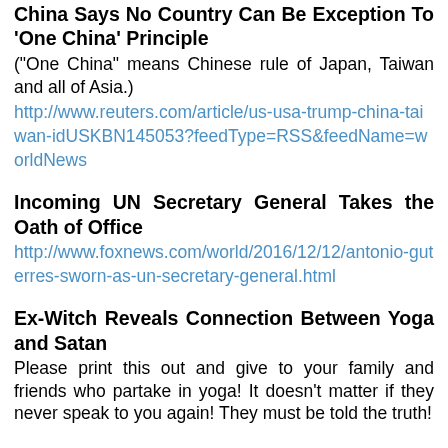China Says No Country Can Be Exception To 'One China' Principle
("One China" means Chinese rule of Japan, Taiwan and all of Asia.)
http://www.reuters.com/article/us-usa-trump-china-taiwan-idUSKBN145053?feedType=RSS&feedName=worldNews
Incoming UN Secretary General Takes the Oath of Office
http://www.foxnews.com/world/2016/12/12/antonio-guterres-sworn-as-un-secretary-general.html
Ex-Witch Reveals Connection Between Yoga and Satan
Please print this out and give to your family and friends who partake in yoga! It doesn't matter if they never speak to you again! They must be told the truth!